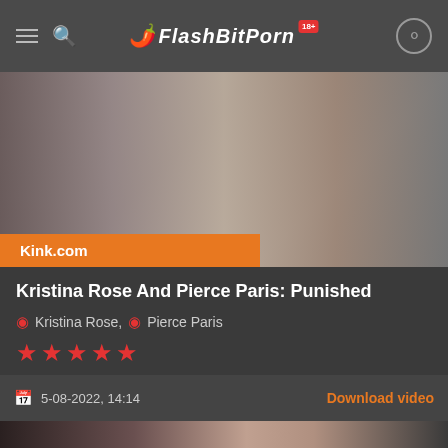FlashBitPorn 18+
[Figure (photo): Thumbnail image for adult video content from Kink.com showing multiple people]
Kink.com
Kristina Rose And Pierce Paris: Punished
Kristina Rose, Pierce Paris
★★★★★ (5 stars)
5-08-2022, 14:14
Download video
[Figure (photo): Bottom thumbnail image of adult video content showing people]